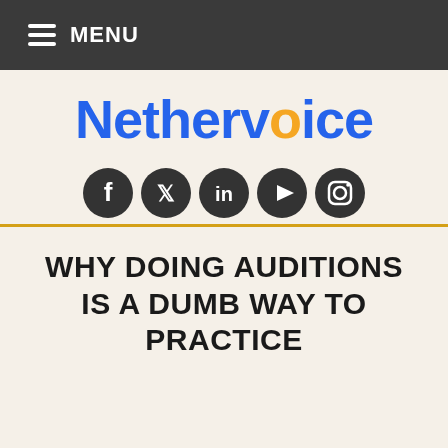MENU
Nethervoice
[Figure (infographic): Row of 5 circular social media icons: Facebook, Twitter, LinkedIn, YouTube, Instagram]
WHY DOING AUDITIONS IS A DUMB WAY TO PRACTICE